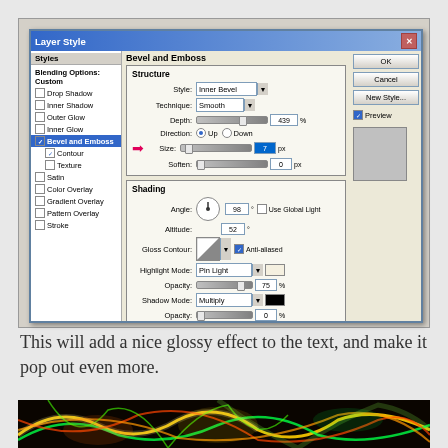[Figure (screenshot): Photoshop Layer Style dialog showing Bevel and Emboss settings. Structure section: Style=Inner Bevel, Technique=Smooth, Depth=439%, Direction=Up, Size=7px (highlighted with pink arrow), Soften=0px. Shading section: Angle=98°, Altitude=52°, Gloss Contour with Anti-aliased checked, Highlight Mode=Pin Light Opacity=75%, Shadow Mode=Multiply Opacity=0%. Side buttons: OK, Cancel, New Style, Preview checkbox. Make Default and Reset to Default buttons at bottom.]
This will add a nice glossy effect to the text, and make it pop out even more.
[Figure (photo): Neon glowing text effect preview on dark background showing colorful curving neon light shapes in yellow, green, red, and orange]